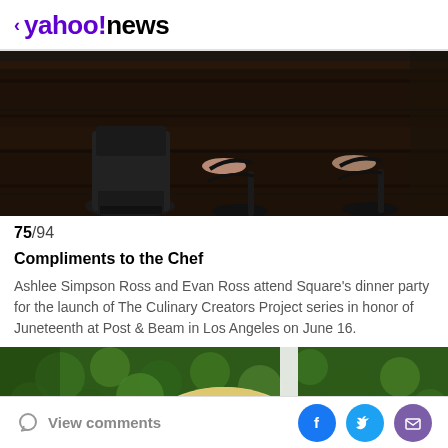yahoo!news
[Figure (photo): Close-up of feet and shoes on dark wooden deck boards. Left side shows black leather boots, center shows strappy black heeled sandals, right side shows another pair of strappy black heeled sandals with dark nail polish.]
75/94
Compliments to the Chef
Ashlee Simpson Ross and Evan Ross attend Square’s dinner party for the launch of The Culinary Creators Project series in honor of Juneteenth at Post & Beam in Los Angeles on June 16.
[Figure (photo): Partial view of a blonde woman's head from behind, surrounded by green leafy background/foliage wall.]
View comments